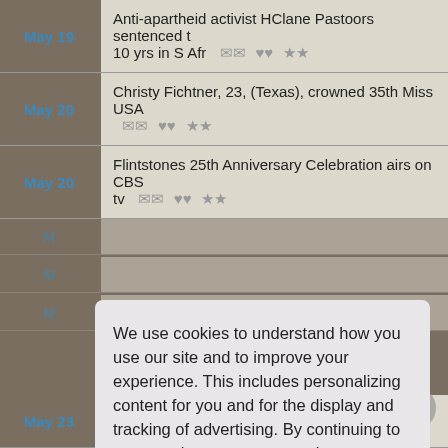May 19 — Anti-apartheid activist HClane Pastoors sentenced to 10 yrs in S Afr
May 20 — Christy Fichtner, 23, (Texas), crowned 35th Miss USA
May 20 — Flintstones 25th Anniversary Celebration airs on CBS tv
May 23 — US & West Europeans veto heavier sanctions against S Afr
We use cookies to understand how you use our site and to improve your experience. This includes personalizing content for you and for the display and tracking of advertising. By continuing to use our site, you accept and agree to our use of cookies. Privacy Policy
Got it!